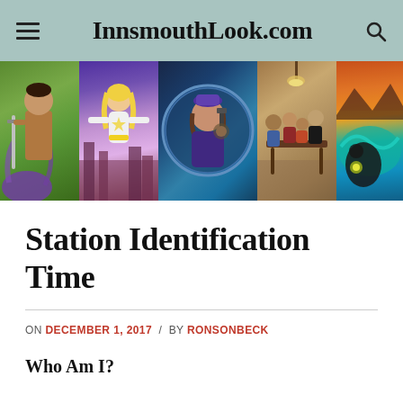InnsmouthLook.com
[Figure (photo): Banner strip of five images: a cartoon warrior with sword and tentacles, a female superhero flying over a city, a woman in purple with a gun in a circular frame, a tavern scene with several characters at a table, and a sci-fi landscape with teal and orange colors.]
Station Identification Time
ON DECEMBER 1, 2017 / BY RONSONBECK
Who Am I?